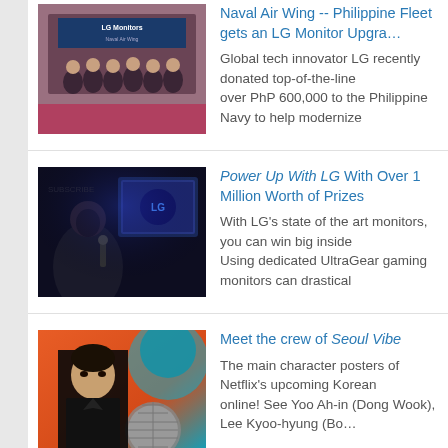[Figure (photo): Group of people with LG Monitors banner in background, military/formal event]
Naval Air Wing -- Philippine Fleet gets an LG Monitor Upgrade
Global tech innovator LG recently donated top-of-the-line over PhP 600,000 to the Philippine Navy to help modernize
[Figure (photo): Person in dark gaming setup environment]
Power Up With LG With Over 1 Million Worth of Prizes
With LG's state of the art monitors, you can win big inside Using dedicated UltraGear gaming monitors can drastical
[Figure (photo): Seoul Vibe movie poster featuring Yoo Ah-in as Dong Wook character]
Meet the crew of Seoul Vibe
The main character posters of Netflix's upcoming Korean online! See Yoo Ah-in (Dong Wook), Lee Kyoo-hyung (Bo...